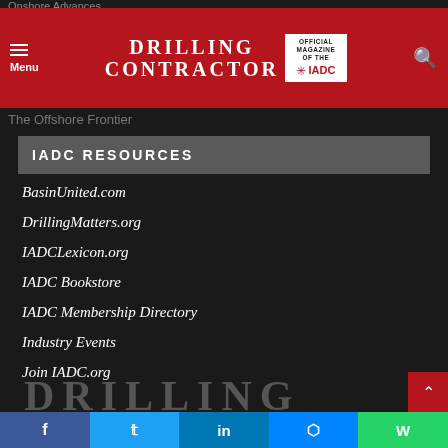Drilling Contractor — Official Magazine of the IADC
Onshore Advances
The Offshore Frontier
IADC RESOURCES
BasinUnited.com
DrillingMatters.org
IADCLexicon.org
IADC Bookstore
IADC Membership Directory
Industry Events
Join IADC.org
[Figure (logo): Drilling Contractor partial logo at bottom of page]
Social share bar: Facebook, Twitter, LinkedIn, Messenger, WhatsApp